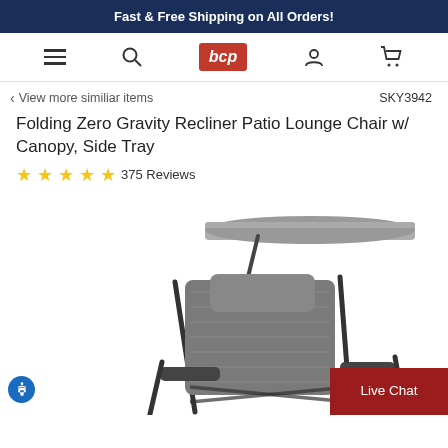Fast & Free Shipping on All Orders!
[Figure (logo): BCP website navigation bar with hamburger menu, search icon, BCP red logo, user icon, and cart icon]
< View more similiar items   SKY3942
Folding Zero Gravity Recliner Patio Lounge Chair w/ Canopy, Side Tray
★★★★★ 375 Reviews
[Figure (photo): Gray folding zero gravity recliner patio lounge chair with canopy shade and headrest pillow, photographed at an angle on white background]
Live Chat